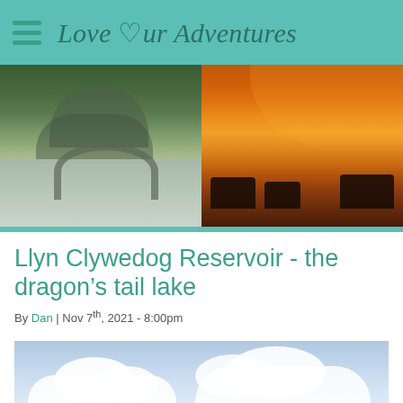Love Our Adventures
[Figure (photo): Split hero image: left side shows a stone arch bridge over a river with green foliage and flowing water; right side shows a harbour at sunset with warm orange and golden sky reflected in the water with silhouettes of buildings]
Llyn Clywedog Reservoir - the dragon's tail lake
By Dan | Nov 7th, 2021 - 8:00pm
[Figure (photo): Sky photograph showing blue sky with large white cumulus clouds, taken from below looking upward]